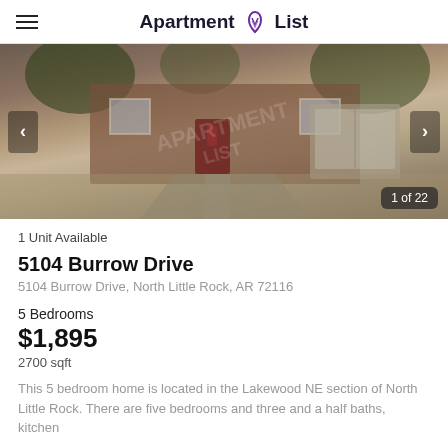Apartment List
[Figure (photo): Exterior photo of a brick house with a red door, driveway, and garage, with trees in the background. Shows '1 of 22' photo counter.]
1 Unit Available
5104 Burrow Drive
5104 Burrow Drive, North Little Rock, AR 72116
5 Bedrooms
$1,895
2700 sqft
This 5 bedroom home is located in the Lakewood NE section of North Little Rock. There are five bedrooms and three and a half baths, kitchen